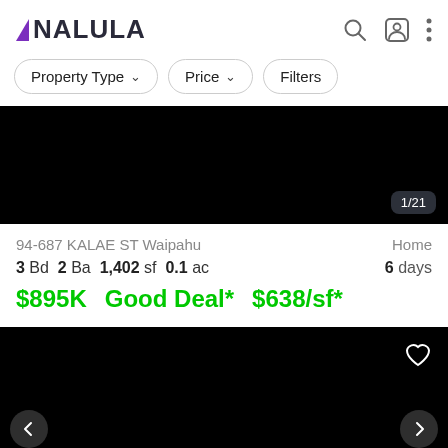[Figure (logo): Nalula logo with purple triangle and bold dark text]
Property Type ▾
Price ▾
Filters
[Figure (photo): Black property photo area with counter badge 1/21]
94-687 KALAE ST Waipahu   Home
3 Bd  2 Ba  1,402 sf  0.1 ac   6 days
$895K   Good Deal*   $638/sf*
[Figure (photo): Black property photo area with heart icon and Map button]